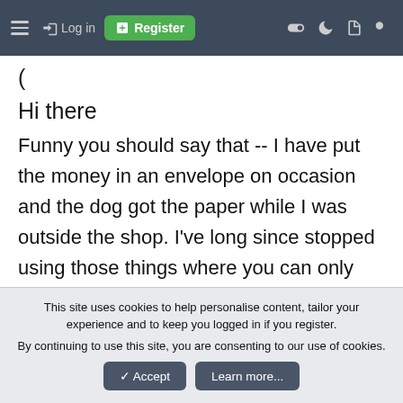≡  →) Log in  ⊞ Register  ◉  ☽  🗋  🔍
(
Hi there
Funny you should say that -- I have put the money in an envelope on occasion and the dog got the paper while I was outside the shop. I've long since stopped using those things where you can only use them outdoors -- actually here it's likely to be made against the law even to use them inside your own house if there are children present (you have to go out into the garden or Street) -- while I agree with as minimum Government interference
This site uses cookies to help personalise content, tailor your experience and to keep you logged in if you register.
By continuing to use this site, you are consenting to our use of cookies.